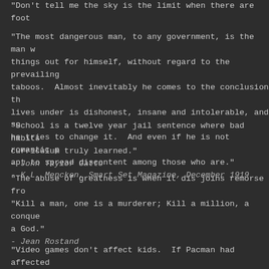“Don’t tell me the sky is the limit when there are foot…
“The most dangerous man, to any government, is the man w… things out for himself, without regard to the prevailing… taboos. Almost inevitably he comes to the conclusion th… lives under is dishonest, insane and intolerable, and so… he tries to change it. And even if he is not romantic p… apt to spread discontent among those who are.”
- K.L. Mencken, Smart Set Magazine, December 1919
“School is a twelve year jail sentence where bad habits… curriculum truly learned.”
- John Taylor Gatto
“The abuse of greatness is when it dis joins remorse fro…
“Kill a man, one is a murderer; Kill a million, a conque… a God.”
- Jean Rostand
“Video games don’t affect kids. If Pacman had affected… be running around in darkened rooms, munching magic pill…